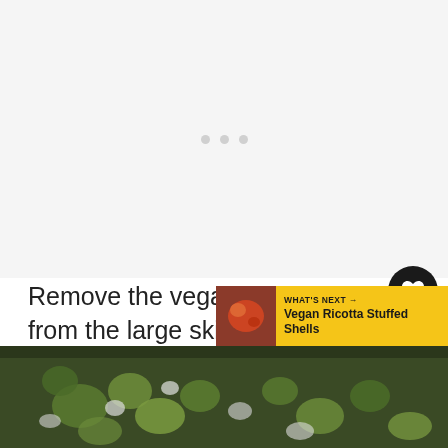[Figure (photo): Light gray/white background area with three small dots (loading indicator) in the upper center portion of the page]
Remove the vegan sausage from the large skillet and place it in a separate bowl.
[Figure (illustration): Black circular button with a white heart icon]
[Figure (infographic): Yellow badge showing the number 92 and a share icon below it]
[Figure (infographic): Yellow 'WHAT'S NEXT' banner with a thumbnail food image and text 'Vegan Ricotta Stuffed Shells']
[Figure (photo): Close-up food photo showing green and white chopped vegetables (Brussels sprouts or similar)]